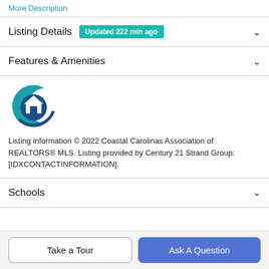More Description
Listing Details  Updated 222 min ago
Features & Amenities
[Figure (logo): Coastal Carolinas Association of REALTORS MLS logo — a teal/dark blue crescent with a house silhouette]
Listing information © 2022 Coastal Carolinas Association of REALTORS® MLS. Listing provided by Century 21 Strand Group:[IDXCONTACTINFORMATION].
Schools
Take a Tour
Ask A Question